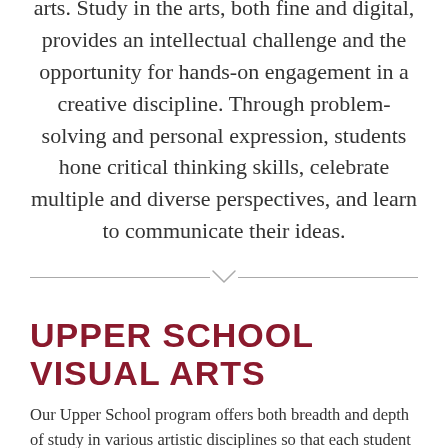arts. Study in the arts, both fine and digital, provides an intellectual challenge and the opportunity for hands-on engagement in a creative discipline. Through problem-solving and personal expression, students hone critical thinking skills, celebrate multiple and diverse perspectives, and learn to communicate their ideas.
[Figure (other): Horizontal divider line with a downward-pointing chevron/arrow in the center]
UPPER SCHOOL VISUAL ARTS
Our Upper School program offers both breadth and depth of study in various artistic disciplines so that each student can